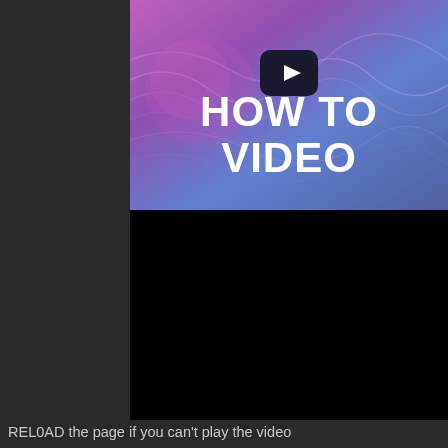[Figure (screenshot): A video thumbnail showing 'HOW TO VIDEO' text in white bold letters on a colorful purple/blue wave background, with a YouTube-style play button in the center. Below the thumbnail is a black video player area.]
REL0AD the page if you can't play the video
Take your time as in this post, you will grasp the breakdown of matter with some feasible solutions to fix error installing APK on Android.